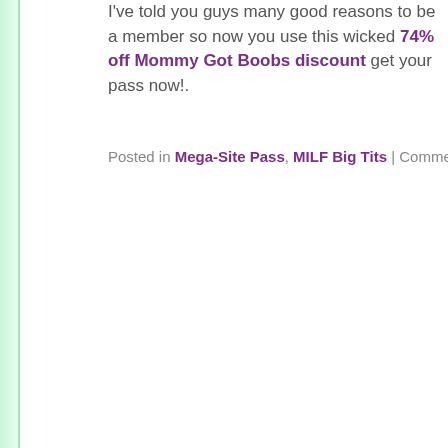I've told you guys many good reasons to be a member so now you use this wicked 74% off Mommy Got Boobs discount get your pass now!.
Posted in Mega-Site Pass, MILF Big Tits | Comments O